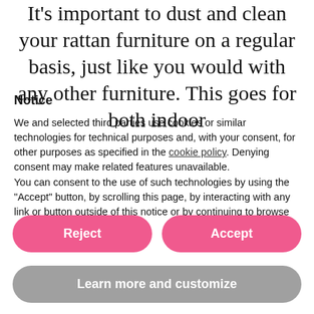It's important to dust and clean your rattan furniture on a regular basis, just like you would with any other furniture. This goes for both indoor
Notice
We and selected third parties use cookies or similar technologies for technical purposes and, with your consent, for other purposes as specified in the cookie policy. Denying consent may make related features unavailable.
You can consent to the use of such technologies by using the "Accept" button, by scrolling this page, by interacting with any link or button outside of this notice or by continuing to browse otherwise.